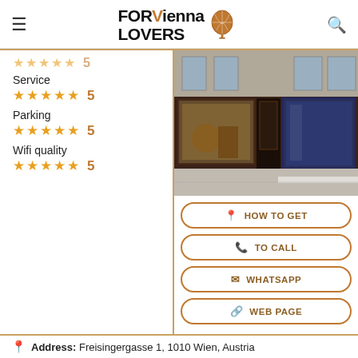FOR Vienna LOVERS
Service ★★★★★ 5
Parking ★★★★★ 5
Wifi quality ★★★★★ 5
[Figure (photo): Street view of a shop storefront in Vienna with dark wood facade and display windows]
HOW TO GET
TO CALL
WHATSAPP
WEB PAGE
Address: Freisingergasse 1, 1010 Wien, Austria